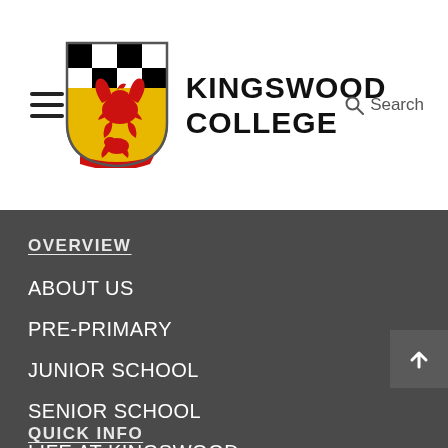[Figure (logo): Kingswood College shield crest logo with red dragon, gold background, and black/white checkers at top]
KINGSWOOD COLLEGE
OVERVIEW
ABOUT US
PRE-PRIMARY
JUNIOR SCHOOL
SENIOR SCHOOL
LIFE AT KINGSWOOD
ADMISSIONS
KINGSWOODIAN CLUB
QUICK INFO